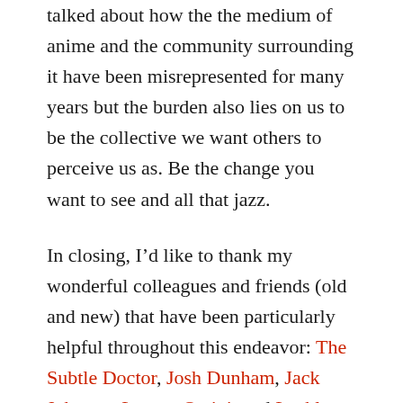talked about how the the medium of anime and the community surrounding it have been misrepresented for many years but the burden also lies on us to be the collective we want others to perceive us as. Be the change you want to see and all that jazz.
In closing, I’d like to thank my wonderful colleagues and friends (old and new) that have been particularly helpful throughout this endeavor: The Subtle Doctor, Josh Dunham, Jack Johnson, Lauren Orsini, and Lachlan Still. I’d also like to thank my family and friends outside of the community that have been there for both emotional and professional support.
As for me, you can look forward to more content. I’m gonna keep doing what I do best: writing about stuff